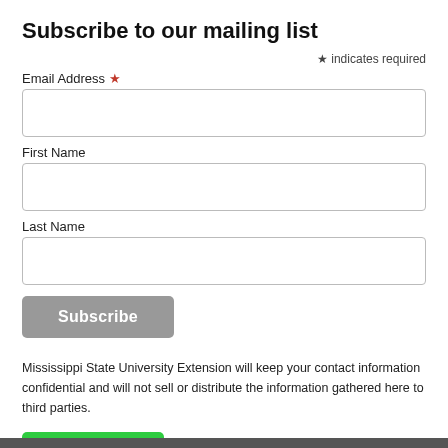Subscribe to our mailing list
* indicates required
Email Address *
First Name
Last Name
[Figure (other): Subscribe button (gray rounded rectangle)]
Mississippi State University Extension will keep your contact information confidential and will not sell or distribute the information gathered here to third parties.
[Figure (other): Print | PDF green button with printer icon]